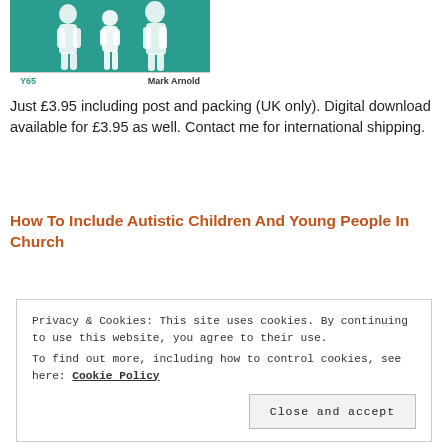[Figure (illustration): Book cover with teal background showing white silhouettes of children and adults. Bottom shows 'Y65' in teal and 'Mark Arnold' in bold black text on white strip.]
Just £3.95 including post and packing (UK only). Digital download available for £3.95 as well. Contact me for international shipping.
How To Include Autistic Children And Young People In Church
Privacy & Cookies: This site uses cookies. By continuing to use this website, you agree to their use.
To find out more, including how to control cookies, see here: Cookie Policy
Close and accept